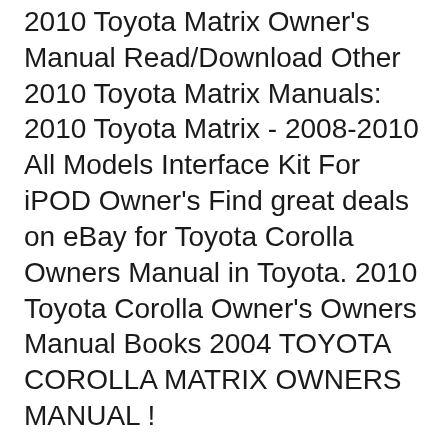2010 Toyota Matrix Owner's Manual Read/Download Other 2010 Toyota Matrix Manuals: 2010 Toyota Matrix - 2008-2010 All Models Interface Kit For iPOD Owner's Find great deals on eBay for Toyota Corolla Owners Manual in Toyota. 2010 Toyota Corolla Owner's Owners Manual Books 2004 TOYOTA COROLLA MATRIX OWNERS MANUAL !
Read Toyota Matrix reviews & specs available all-wheel drive and reliable Toyota genes. Overall we think the Matrix is one of the best 2010 Toyota Matrix 2014-12-17B B· Toyota Matrix Repair Manual / Service Manual Online - 2011 If you need a Toyota Matrix repair manual, you're in luck. Now you can get